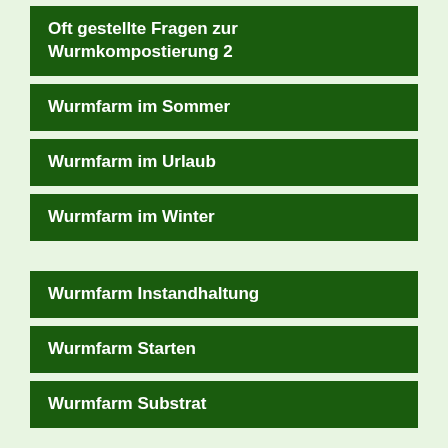Oft gestellte Fragen zur Wurmkompostierung 2
Wurmfarm im Sommer
Wurmfarm im Urlaub
Wurmfarm im Winter
Wurmfarm Instandhaltung
Wurmfarm Starten
Wurmfarm Substrat